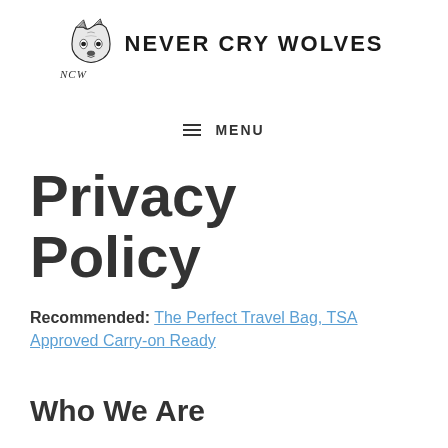Never Cry Wolves
MENU
Privacy Policy
Recommended: The Perfect Travel Bag, TSA Approved Carry-on Ready
Who We Are
At nevercrywolves.com, we are committed to